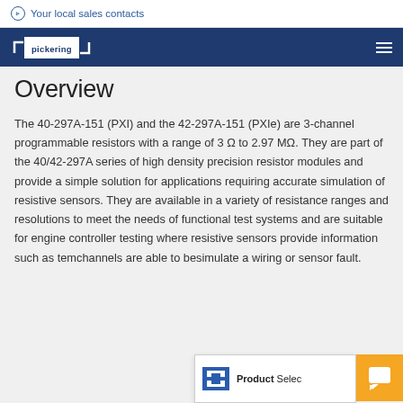Your local sales contacts
[Figure (logo): Pickering Interfaces logo on navy navigation bar]
Overview
The 40-297A-151 (PXI) and the 42-297A-151 (PXIe) are 3-channel programmable resistors with a range of 3 Ω to 2.97 MΩ. They are part of the 40/42-297A series of high density precision resistor modules and provide a simple solution for applications requiring accurate simulation of resistive sensors. They are available in a variety of resistance ranges and resolutions to meet the needs of functional test systems and are suitable for engine controller testing where resistive sensors provide information such as tem... channels are able to be... simulate a wiring or sensor fault.
[Figure (screenshot): Product Selector popup overlay with icon and partial text]